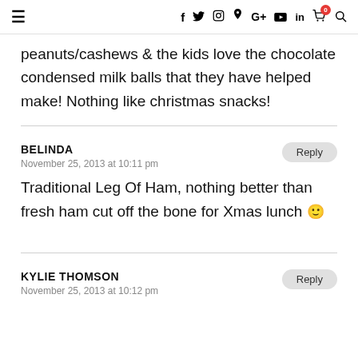≡  f  twitter  instagram  pinterest  G+  youtube  in  cart(0)  search
peanuts/cashews & the kids love the chocolate condensed milk balls that they have helped make! Nothing like christmas snacks!
BELINDA
November 25, 2013 at 10:11 pm
Traditional Leg Of Ham, nothing better than fresh ham cut off the bone for Xmas lunch 🙂
KYLIE THOMSON
November 25, 2013 at 10:12 pm